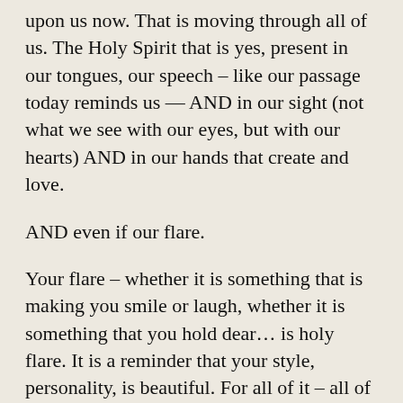upon us now. That is moving through all of us. The Holy Spirit that is yes, present in our tongues, our speech – like our passage today reminds us — AND in our sight (not what we see with our eyes, but with our hearts) AND in our hands that create and love.
AND even if our flare.
Your flare – whether it is something that is making you smile or laugh, whether it is something that you hold dear… is holy flare. It is a reminder that your style, personality, is beautiful. For all of it – all of us – are God's beloved and sacred creation.
Wearing flare is reminding me of something that